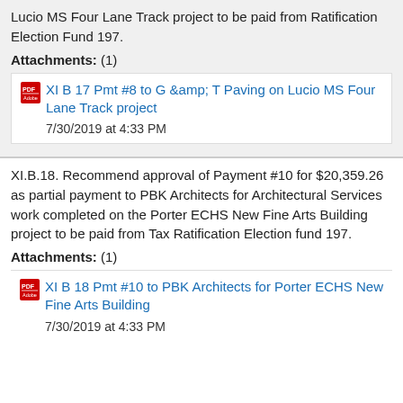Lucio MS Four Lane Track project to be paid from Ratification Election Fund 197.
Attachments: (1)
XI B 17 Pmt #8 to G & T Paving on Lucio MS Four Lane Track project
7/30/2019 at 4:33 PM
XI.B.18. Recommend approval of Payment #10 for $20,359.26 as partial payment to PBK Architects for Architectural Services work completed on the Porter ECHS New Fine Arts Building project to be paid from Tax Ratification Election fund 197.
Attachments: (1)
XI B 18 Pmt #10 to PBK Architects for Porter ECHS New Fine Arts Building
7/30/2019 at 4:33 PM